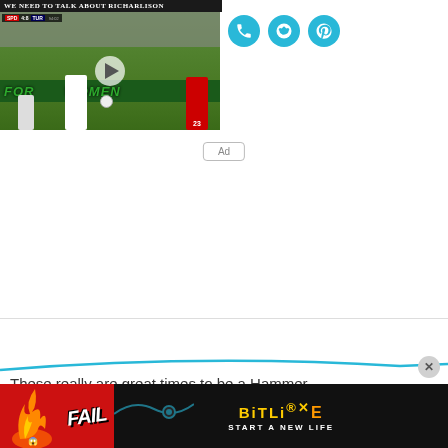We Need To Talk About Richarlison
[Figure (screenshot): Video thumbnail of a Tottenham football match with a play button overlay. Shows players on a green pitch with crowd signage reading FOR WOMEN in the background. Scoreboard shows match info.]
[Figure (screenshot): Social share icons: WhatsApp (phone), Reddit, and Pinterest — all in teal/blue circular buttons]
Ad
These really are great times to be a Hammer
[Figure (infographic): BitLife advertisement banner with FAIL text, animated character, flame graphics, BitLife logo and text START A NEW LIFE on dark background]